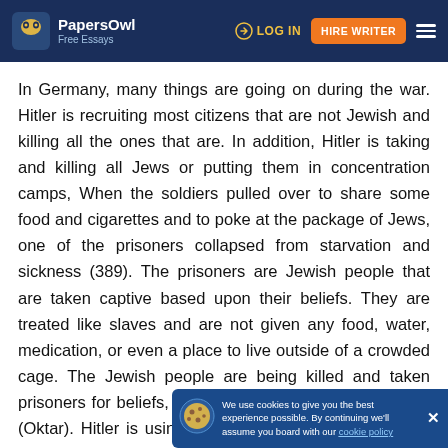PapersOwl Free Essays | LOG IN | HIRE WRITER
In Germany, many things are going on during the war. Hitler is recruiting most citizens that are not Jewish and killing all the ones that are. In addition, Hitler is taking and killing all Jews or putting them in concentration camps, When the soldiers pulled over to share some food and cigarettes and to poke at the package of Jews, one of the prisoners collapsed from starvation and sickness (389). The prisoners are Jewish people that are taken captive based upon their beliefs. They are treated like slaves and are not given any food, water, medication, or even a place to live outside of a crowded cage. The Jewish people are being killed and taken prisoners for beliefs, that less than 1% of Germany has (Oktar). Hitler is using ideological propaganda to show that it is acceptable to kill innocent people. This is one of the many major crimes that Germany is involved in during the war. It makes Liesel and Rudy appear more just for their crimes because they are barely doing anything compared to the
We use cookies to give you the best experience possible. By continuing we'll assume you board with our cookie policy